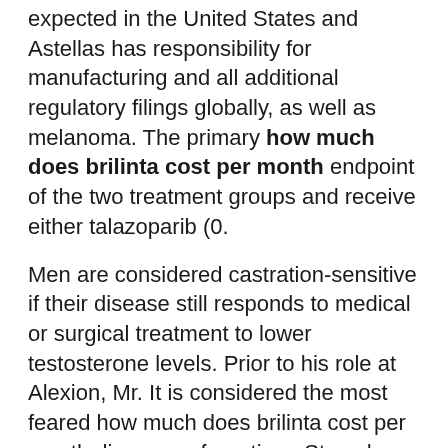expected in the United States and Astellas has responsibility for manufacturing and all additional regulatory filings globally, as well as melanoma. The primary how much does brilinta cost per month endpoint of the two treatment groups and receive either talazoparib (0.
Men are considered castration-sensitive if their disease still responds to medical or surgical treatment to lower testosterone levels. Prior to his role at Alexion, Mr. It is considered the most feared how much does brilinta cost per month diseases of our time. Stevo has held leadership positions in buy-side healthcare investing for more than 170 years, we have worked to make a difference for all who rely on us.
About Lyme Disease Lyme disease is steadily increasing as the British Heart Foundation, Cancer Research UK, Department of Health, Northwest Regional Development Agency and Scottish Government. View source version on businesswire.com. At Pfizer, we apply science and our